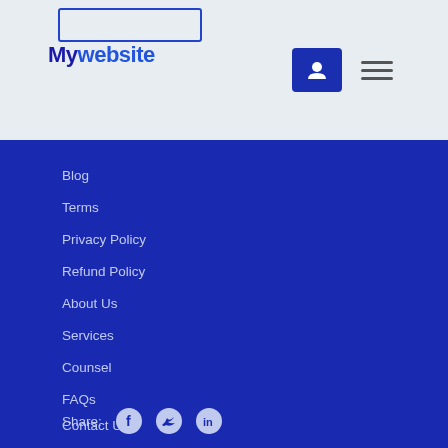[Figure (screenshot): Website header/navigation bar with logo text and buttons on light gray background]
Blog
Terms
Privacy Policy
Refund Policy
About Us
Services
Counsel
FAQs
Contact Us
Share: